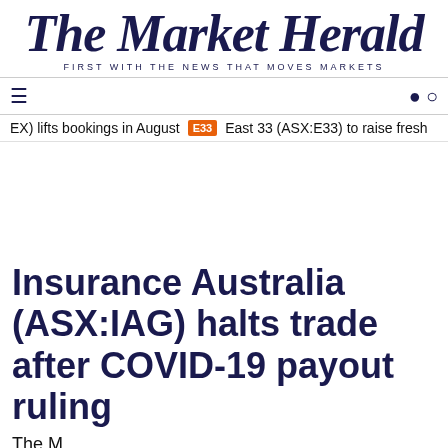The Market Herald
FIRST WITH THE NEWS THAT MOVES MARKETS
☰ (navigation) Q (search)
EX) lifts bookings in August   E33   East 33 (ASX:E33) to raise fresh
Insurance Australia (ASX:IAG) halts trade after COVID-19 payout ruling
The M
ASX:IA
[Figure (screenshot): Advertisement overlay showing 'Hold and Move' with a person icon, trees in background, with close and help buttons]